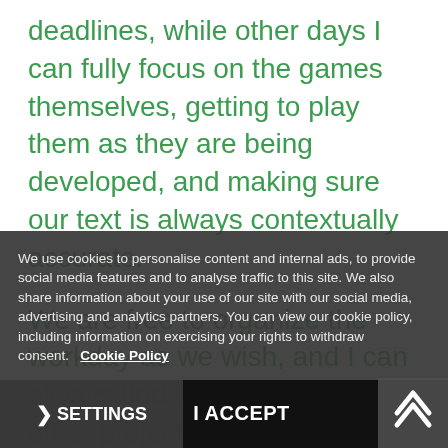deadlines, while other days I can fully focus on the games themselves, getting to play them as they are being developed, and making sure our text is always contextually accurate.
We are free to organize the workday as we wish, and I can always find time to work on other projects such as developing or
We use cookies to personalise content and internal ads, to provide social media features and to analyse traffic to this site. We also share information about your use of our site with our social media, advertising and analytics partners. You can view our cookie policy, including information on exercising your rights to withdraw consent.
Cookie Policy
SETTINGS
I ACCEPT